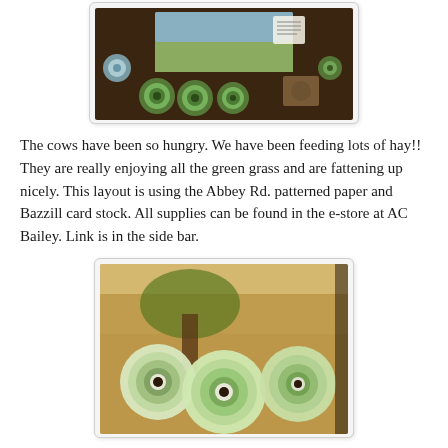[Figure (photo): Craft scrapbook layout featuring green and blue paper flowers arranged in a wreath/heart shape around a landscape photo, on dark brown background, using Abbey Rd. patterned paper and Bazzill card stock.]
The cows have been so hungry. We have been feeding lots of hay!! They are really enjoying all the green grass and are fattening up nicely. This layout is using the Abbey Rd. patterned paper and Bazzill card stock. All supplies can be found in the e-store at AC Bailey. Link is in the side bar.
[Figure (photo): Close-up photo of three handmade paper flowers in green and cream/white tones with dark brown centers, arranged in a row with a landscape photo visible in the background.]
I love making these flowers -very cool looking. So easy, too!!! All you do is cut 4 circles - each a little smaller than the previous one.